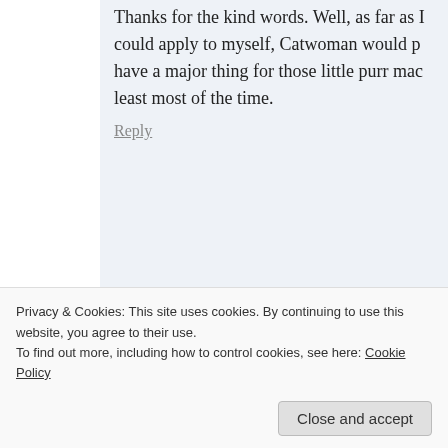Thanks for the kind words. Well, as far as I could apply to myself, Catwoman would have a major thing for those little purr machines, at least most of the time.
Reply
followechoes says: September 4, 2012 at 2:50 am
Thanks for sharing this great and inspirational post. Co
Reply
Privacy & Cookies: This site uses cookies. By continuing to use this website, you agree to their use.
To find out more, including how to control cookies, see here: Cookie Policy
Close and accept